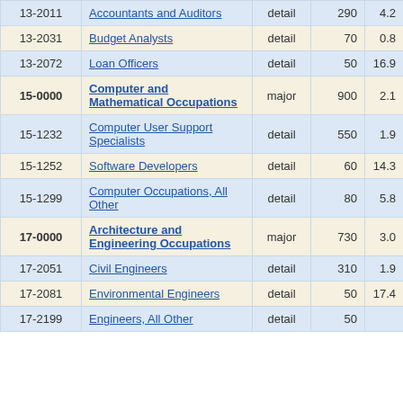| SOC Code | Occupation | Level | Employment | % Change |
| --- | --- | --- | --- | --- |
| 13-2011 | Accountants and Auditors | detail | 290 | 4.2 |
| 13-2031 | Budget Analysts | detail | 70 | 0.8 |
| 13-2072 | Loan Officers | detail | 50 | 16.9 |
| 15-0000 | Computer and Mathematical Occupations | major | 900 | 2.1 |
| 15-1232 | Computer User Support Specialists | detail | 550 | 1.9 |
| 15-1252 | Software Developers | detail | 60 | 14.3 |
| 15-1299 | Computer Occupations, All Other | detail | 80 | 5.8 |
| 17-0000 | Architecture and Engineering Occupations | major | 730 | 3.0 |
| 17-2051 | Civil Engineers | detail | 310 | 1.9 |
| 17-2081 | Environmental Engineers | detail | 50 | 17.4 |
| 17-2199 | Engineers, All Other | detail | 50 |  |